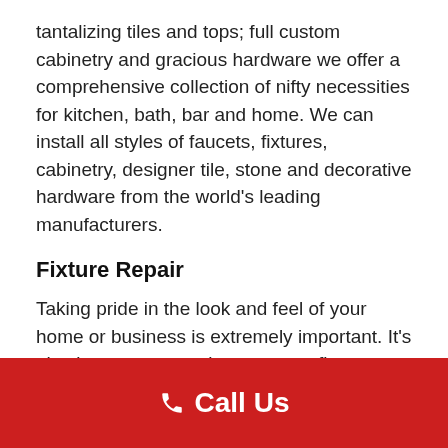tantalizing tiles and tops; full custom cabinetry and gracious hardware we offer a comprehensive collection of nifty necessities for kitchen, bath, bar and home. We can install all styles of faucets, fixtures, cabinetry, designer tile, stone and decorative hardware from the world's leading manufacturers.
Fixture Repair
Taking pride in the look and feel of your home or business is extremely important. It's also important to make sure your fixtures are up-to-date or working properly. Available to assist with all your residential or commercial plumbing fixture repair or replacement needs. If you suspect a problem with your toilet, sink, faucet, tub, or any other
Call Us